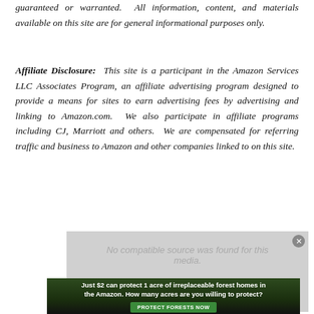guaranteed or warranted. All information, content, and materials available on this site are for general informational purposes only.
Affiliate Disclosure: This site is a participant in the Amazon Services LLC Associates Program, an affiliate advertising program designed to provide a means for sites to earn advertising fees by advertising and linking to Amazon.com. We also participate in affiliate programs including CJ, Marriott and others. We are compensated for referring traffic and business to Amazon and other companies linked to on this site.
[Figure (other): Video media player placeholder showing 'No compatible source was found for this media.' with a close button, overlaid by an advertisement banner: 'Just $2 can protect 1 acre of irreplaceable forest homes in the Amazon. How many acres are you willing to protect?' with a green 'PROTECT FORESTS NOW' button.]